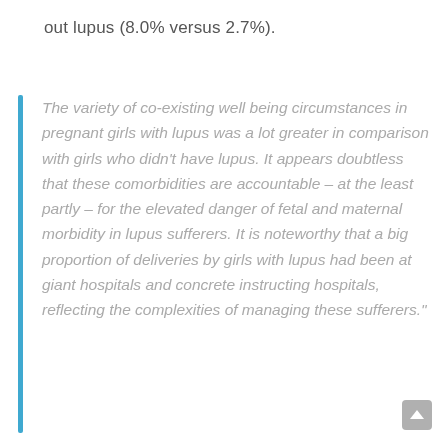out lupus (8.0% versus 2.7%).
The variety of co-existing well being circumstances in pregnant girls with lupus was a lot greater in comparison with girls who didn't have lupus. It appears doubtless that these comorbidities are accountable – at the least partly – for the elevated danger of fetal and maternal morbidity in lupus sufferers. It is noteworthy that a big proportion of deliveries by girls with lupus had been at giant hospitals and concrete instructing hospitals, reflecting the complexities of managing these sufferers."